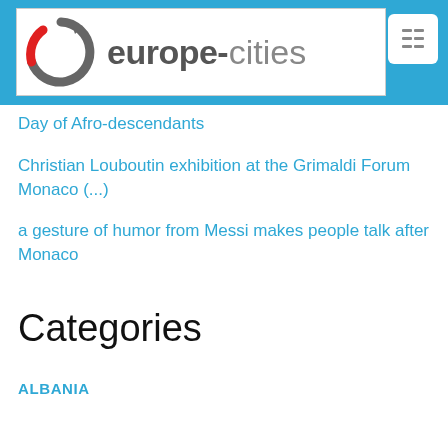[Figure (logo): europe-cities website logo: circular arrow icon in grey and red, text 'europe-cities' in grey/light-grey]
Day of Afro-descendants
Christian Louboutin exhibition at the Grimaldi Forum Monaco (...)
a gesture of humor from Messi makes people talk after Monaco
Categories
ALBANIA